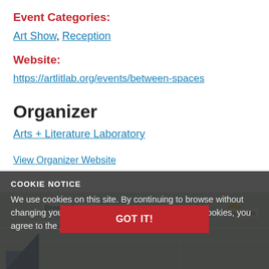Event Categories:
Art Show, Reception
Website:
https://artlitlab.org/events/between-spaces
Organizer
Arts + Literature Laboratory
View Organizer Website
COOKIE NOTICE
We use cookies on this site. By continuing to browse without changing your browser settings to block or delete cookies, you agree to the UW–Madison Privacy Notice.
GOT IT!
[Figure (map): Map showing Breese Stevens, Hotel Indigo Madison, McPike Park area with navigation elements]